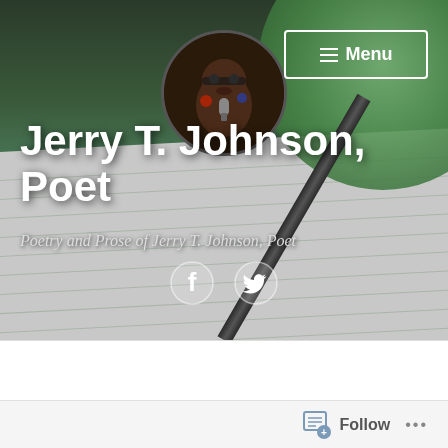[Figure (screenshot): Website header/profile page for Jerry T. Johnson, Poet. Features a background photo of a notebook and pen on a wooden desk, a circular green decorative element, a circular profile photo of a man performing, a Menu button in the top right, the site title 'Jerry T. Johnson, Poet', a subtitle 'Poetry and Prose of Jerry T. Johnson, Poet', Facebook and Twitter social icons, and a bottom white section with author name and follow bar.]
Jerry T. Johnson, Poet
Poetry and Prose of Jerry T. Johnson, Poet
Jerry T. Johnson, Writer
Follow
...